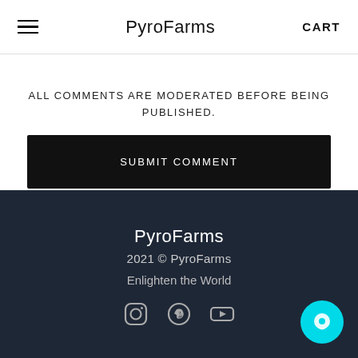PyroFarms  CART
ALL COMMENTS ARE MODERATED BEFORE BEING PUBLISHED.
SUBMIT COMMENT
PyroFarms
2021 © PyroFarms
Enlighten the World
[Figure (other): Social media icons: Instagram, Pinterest, YouTube]